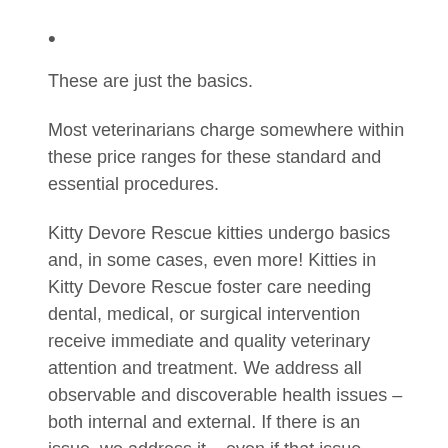•
These are just the basics.
Most veterinarians charge somewhere within these price ranges for these standard and essential procedures.
Kitty Devore Rescue kitties undergo basics and, in some cases, even more! Kitties in Kitty Devore Rescue foster care needing dental, medical, or surgical intervention receive immediate and quality veterinary attention and treatment. We address all observable and discoverable health issues – both internal and external. If there is an issue, we address it – even if that issue costs us thousands to treat and correct.
Once adopted, we provide our adopters with complete